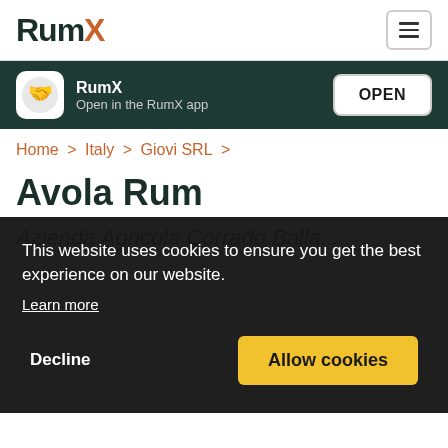RumX
[Figure (screenshot): RumX app banner with logo and OPEN button on dark green background]
Home > Italy > Giovi SRL >
Avola Rum
Azienda Agricola Corrado Balla...
This website uses cookies to ensure you get the best experience on our website. Learn more
Decline   Allow cookies